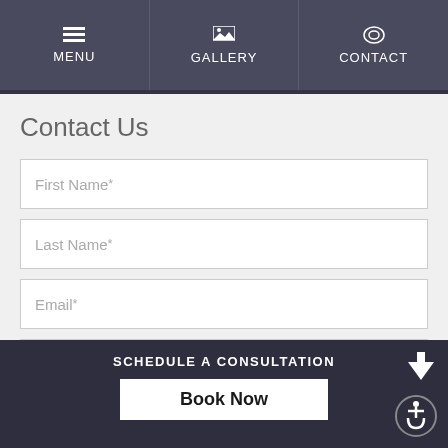MENU | GALLERY | CONTACT
Contact Us
First Name*
Last Name*
Email*
Phone Number*
SCHEDULE A CONSULTATION
Book Now